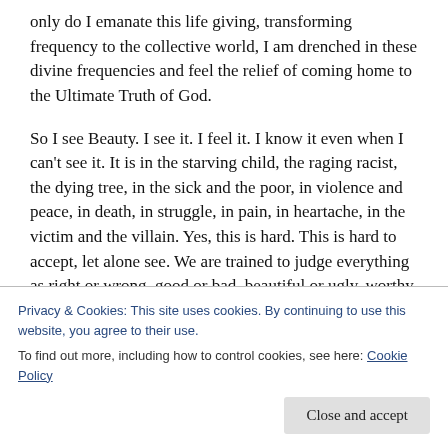only do I emanate this life giving, transforming frequency to the collective world, I am drenched in these divine frequencies and feel the relief of coming home to the Ultimate Truth of God.
So I see Beauty. I see it. I feel it. I know it even when I can't see it. It is in the starving child, the raging racist, the dying tree, in the sick and the poor, in violence and peace, in death, in struggle, in pain, in heartache, in the victim and the villain. Yes, this is hard. This is hard to accept, let alone see. We are trained to judge everything as right or wrong, good or bad, beautiful or ugly, worthy or unworthy. We
Privacy & Cookies: This site uses cookies. By continuing to use this website, you agree to their use.
To find out more, including how to control cookies, see here: Cookie Policy
Close and accept